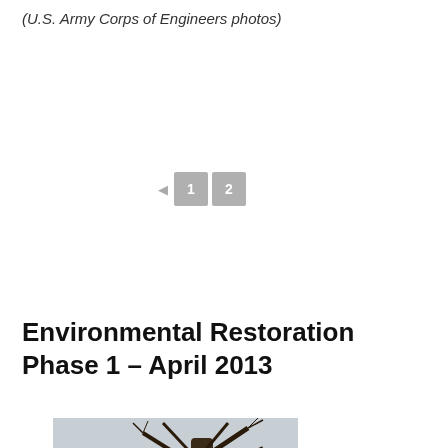(U.S. Army Corps of Engineers photos)
[Figure (other): Pagination control showing back arrow and page buttons 1 and 2]
Environmental Restoration Phase 1 – April 2013
[Figure (photo): Photo of bare trees against a grey sky with a dark fence or wall in the foreground, taken in April 2013 during environmental restoration phase 1]